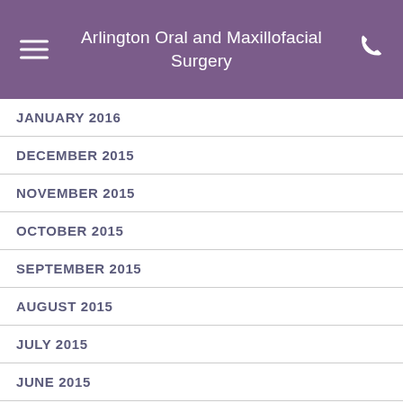Arlington Oral and Maxillofacial Surgery
JANUARY 2016
DECEMBER 2015
NOVEMBER 2015
OCTOBER 2015
SEPTEMBER 2015
AUGUST 2015
JULY 2015
JUNE 2015
MAY 2015
APRIL 2015
We are online!